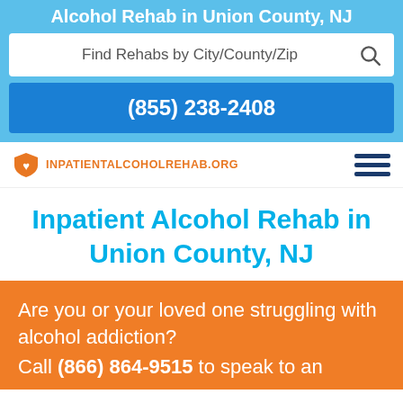Alcohol Rehab in Union County, NJ
Find Rehabs by City/County/Zip
(855) 238-2408
[Figure (logo): InpatientAlcoholRehab.org logo with orange shield icon and orange uppercase text]
Inpatient Alcohol Rehab in Union County, NJ
Are you or your loved one struggling with alcohol addiction? Call (866) 864-9515 to speak to an addiction treatment specialist.